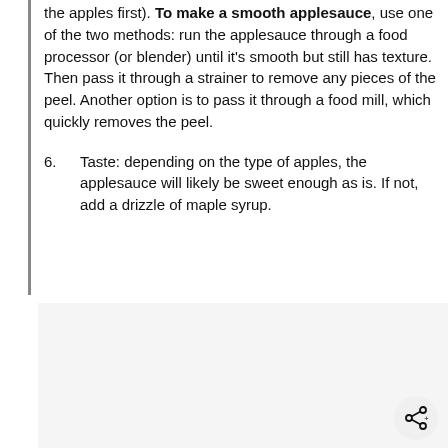the apples first). To make a smooth applesauce, use one of the two methods: run the applesauce through a food processor (or blender) until it’s smooth but still has texture. Then pass it through a strainer to remove any pieces of the peel. Another option is to pass it through a food mill, which quickly removes the peel.
6. Taste: depending on the type of apples, the applesauce will likely be sweet enough as is. If not, add a drizzle of maple syrup.